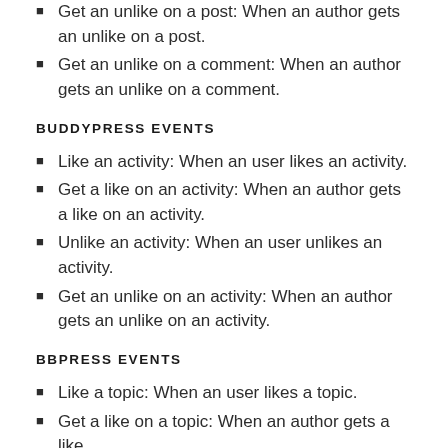Get an unlike on a post: When an author gets an unlike on a post.
Get an unlike on a comment: When an author gets an unlike on a comment.
BUDDYPRESS EVENTS
Like an activity: When an user likes an activity.
Get a like on an activity: When an author gets a like on an activity.
Unlike an activity: When an user unlikes an activity.
Get an unlike on an activity: When an author gets an unlike on an activity.
BBPRESS EVENTS
Like a topic: When an user likes a topic.
Get a like on a topic: When an author gets a like